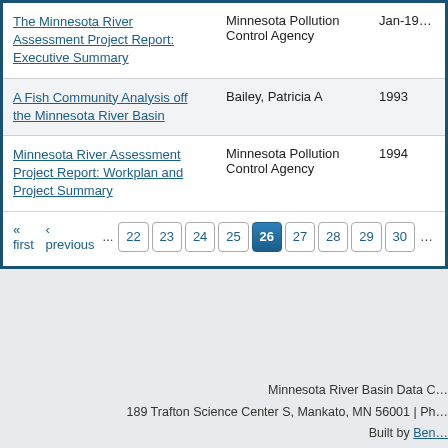| Title | Author | Year |
| --- | --- | --- |
| The Minnesota River Assessment Project Report: Executive Summary | Minnesota Pollution Control Agency | Jan-19… |
| A Fish Community Analysis off the Minnesota River Basin | Bailey, Patricia A | 1993 |
| Minnesota River Assessment Project Report: Workplan and Project Summary | Minnesota Pollution Control Agency | 1994 |
« first  ‹ previous  ...  22  23  24  25  26  27  28  29  30  ...
Minnesota River Basin Data C… | 189 Trafton Science Center S, Mankato, MN 56001 | Ph… | Built by Ben…